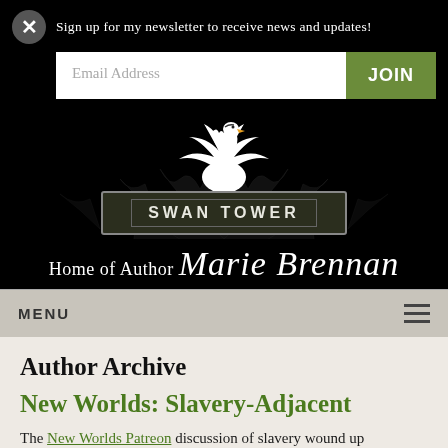Sign up for my newsletter to receive news and updates!
Email Address
JOIN
[Figure (logo): Swan Tower logo: white swan with wings above a dark rectangular banner reading SWAN TOWER in white capital letters with decorative borders. Ornate dark tree/floral arabesque pattern in background.]
Home of Author Marie Brennan
MENU
Author Archive
New Worlds: Slavery-Adjacent
The New Worlds Patreon discussion of slavery wound up